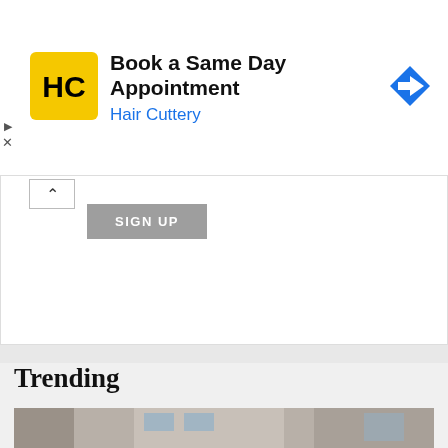[Figure (infographic): Hair Cuttery advertisement banner: HC logo on yellow background, 'Book a Same Day Appointment' headline, 'Hair Cuttery' in blue, navigation arrow icon on right]
SIGN UP
Trending
[Figure (photo): Children with backpacks walking toward a school building entrance, a teacher in black standing at the door greeting them]